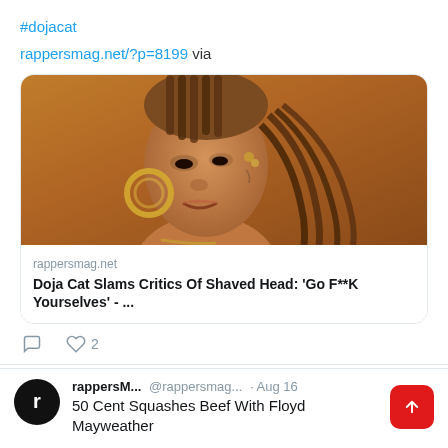#dojacat
rappersmag.net/?p=8199 via
[Figure (photo): Photo of Doja Cat with braided hair pulled back, wearing large gold hoop earrings and a gold chain necklace, looking to the side against a warm brown background.]
rappersmag.net
Doja Cat Slams Critics Of Shaved Head: 'Go F**K Yourselves' - ...
♡ 2
rappersM... @rappersmag... · Aug 16
50 Cent Squashes Beef With Floyd Mayweather